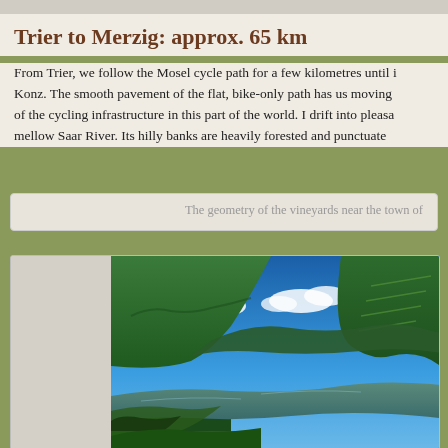Trier to Merzig: approx. 65 km
From Trier, we follow the Mosel cycle path for a few kilometres until it reaches Konz. The smooth pavement of the flat, bike-only path has us moving of the cycling infrastructure in this part of the world. I drift into pleasant mellow Saar River. Its hilly banks are heavily forested and punctuate
The geometry of the vineyards near the town of
[Figure (photo): River landscape with forested hills and blue sky with white clouds, viewed from an elevated position. The river curves through a valley with green hills on both sides.]